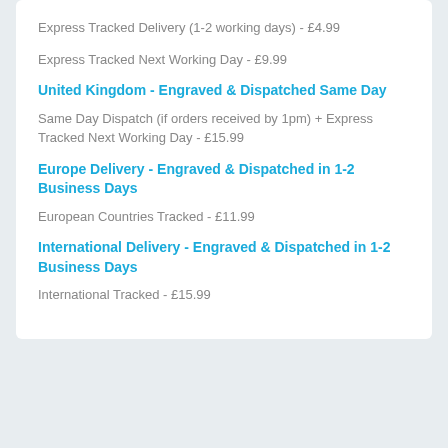Express Tracked Delivery (1-2 working days) - £4.99
Express Tracked Next Working Day - £9.99
United Kingdom - Engraved & Dispatched Same Day
Same Day Dispatch (if orders received by 1pm) + Express Tracked Next Working Day - £15.99
Europe Delivery - Engraved & Dispatched in 1-2 Business Days
European Countries Tracked - £11.99
International Delivery - Engraved & Dispatched in 1-2 Business Days
International Tracked - £15.99